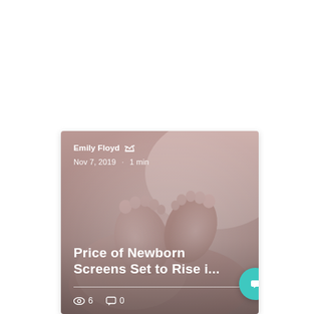[Figure (photo): Blog post card with a background photo of baby feet being held in adult hands (soft pink tones). Overlaid text shows author name, date, article title, and view/comment counts. A teal circular chat button appears at the bottom right of the card.]
Emily Floyd 👑
Nov 7, 2019 · 1 min
Price of Newborn Screens Set to Rise i...
👁 6   💬 0